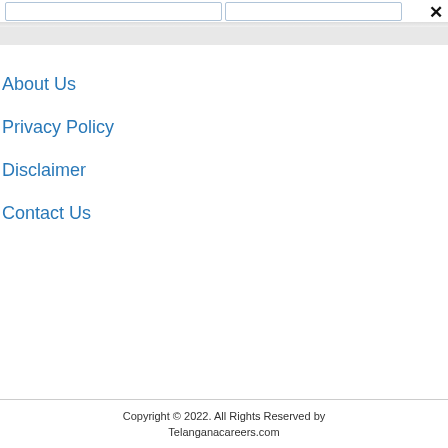About Us
Privacy Policy
Disclaimer
Contact Us
Copyright © 2022. All Rights Reserved by Telanganacareers.com